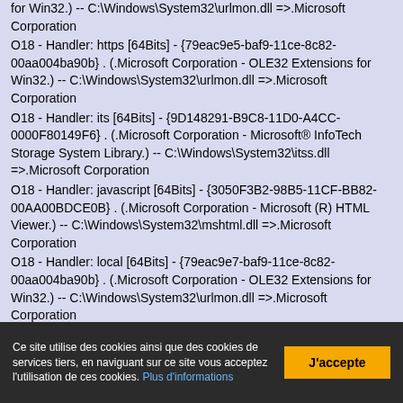for Win32.) -- C:\Windows\System32\urlmon.dll =>.Microsoft Corporation
O18 - Handler: https [64Bits] - {79eac9e5-baf9-11ce-8c82-00aa004ba90b} . (.Microsoft Corporation - OLE32 Extensions for Win32.) -- C:\Windows\System32\urlmon.dll =>.Microsoft Corporation
O18 - Handler: its [64Bits] - {9D148291-B9C8-11D0-A4CC-0000F80149F6} . (.Microsoft Corporation - Microsoft® InfoTech Storage System Library.) -- C:\Windows\System32\itss.dll =>.Microsoft Corporation
O18 - Handler: javascript [64Bits] - {3050F3B2-98B5-11CF-BB82-00AA00BDCE0B} . (.Microsoft Corporation - Microsoft (R) HTML Viewer.) -- C:\Windows\System32\mshtml.dll =>.Microsoft Corporation
O18 - Handler: local [64Bits] - {79eac9e7-baf9-11ce-8c82-00aa004ba90b} . (.Microsoft Corporation - OLE32 Extensions for Win32.) -- C:\Windows\System32\urlmon.dll =>.Microsoft Corporation
O18 - Handler: mailto [64Bits] - {3050f3DA-98B5-11CF-BB82-00...
Ce site utilise des cookies ainsi que des cookies de services tiers, en naviguant sur ce site vous acceptez l'utilisation de ces cookies. Plus d'informations
J'accepte